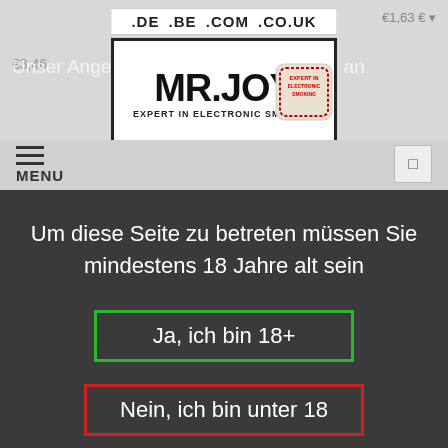.DE .BE .COM .CO.UK
[Figure (logo): MR.JOY logo with text EXPERT IN ELECTRONIC SMOKING and a stamp badge]
Unser Angebot richtet sich ausschließlich an
MENU
Um diese Seite zu betreten müssen Sie mindestens 18 Jahre alt sein
Ja, ich bin 18+
Nein, ich bin unter 18